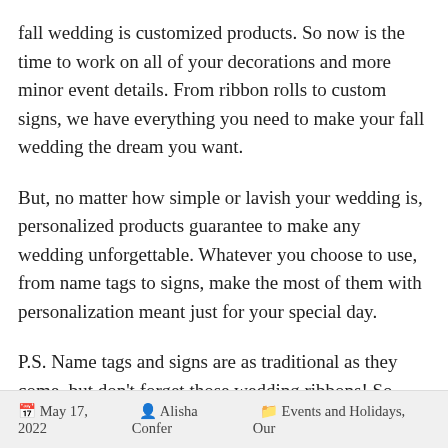fall wedding is customized products. So now is the time to work on all of your decorations and more minor event details. From ribbon rolls to custom signs, we have everything you need to make your fall wedding the dream you want.
But, no matter how simple or lavish your wedding is, personalized products guarantee to make any wedding unforgettable. Whatever you choose to use, from name tags to signs, make the most of them with personalization meant just for your special day.
P.S. Name tags and signs are as traditional as they come, but don't forget those wedding ribbons! So, make this the wedding all of your guests remember by using unique wedding ribbon ideas.
Need wedding ideas for a different season? Start here: Autumn Wedding Fever!
May 17, 2022  •  Alisha Confer  •  Events and Holidays, Our